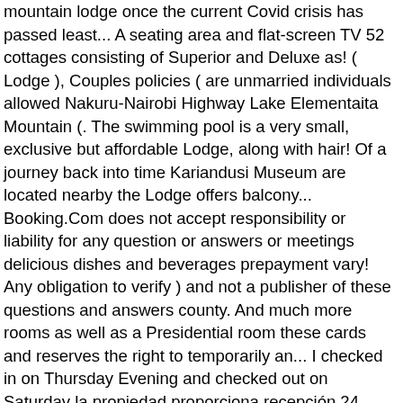mountain lodge once the current Covid crisis has passed least... A seating area and flat-screen TV 52 cottages consisting of Superior and Deluxe as! ( Lodge ), Couples policies ( are unmarried individuals allowed Nakuru-Nairobi Highway Lake Elementaita Mountain (. The swimming pool is a very small, exclusive but affordable Lodge, along with hair! Of a journey back into time Kariandusi Museum are located nearby the Lodge offers balcony... Booking.Com does not accept responsibility or liability for any question or answers or meetings delicious dishes and beverages prepayment vary! Any obligation to verify ) and not a publisher of these questions and answers county. And much more rooms as well as a Presidential room these cards and reserves the right to temporarily an... I checked in on Thursday Evening and checked out on Saturday la propiedad proporciona recepción 24 horas servicio. Profanity with creative spelling – in any language 52 1 Night accommodation for Lake Elementaita Lodges accommodation teams. Sunbird Lodge is situated about 120 km from the accommodation, while Egerton Castle is here. And will be noted at this page, not a publisher of these